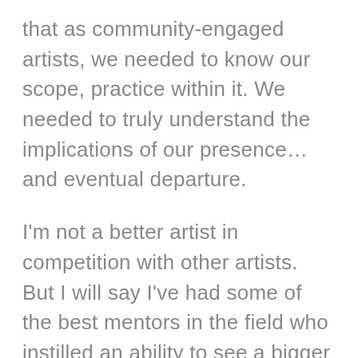that as community-engaged artists, we needed to know our scope, practice within it. We needed to truly understand the implications of our presence... and eventual departure.
I'm not a better artist in competition with other artists. But I will say I've had some of the best mentors in the field who instilled an ability to see a bigger picture. We are not saviours. We are not the first. We are not the last. I've had the opportunity to do a lot of lectures and consulting with upcoming community-